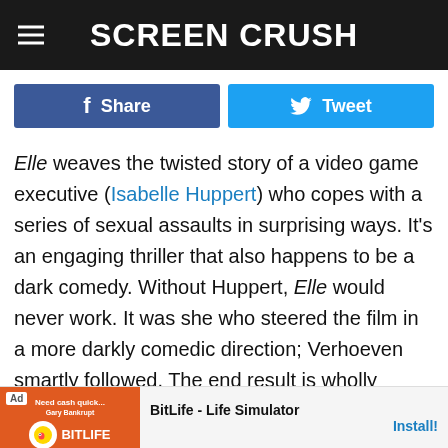SCREEN CRUSH
[Figure (other): Facebook Share button and Twitter Tweet button social sharing bar]
Elle weaves the twisted story of a video game executive (Isabelle Huppert) who copes with a series of sexual assaults in surprising ways. It's an engaging thriller that also happens to be a dark comedy. Without Huppert, Elle would never work. It was she who steered the film in a more darkly comedic direction; Verhoeven smartly followed. The end result is wholly subversive, challenging our ideas of agency, our expectations of victimhood, and our view of female sexuality. This isn't the story of all survivors, but the story of one woman and how her distinct life experiences inform her reactions...oist in an elab...
[Figure (other): Advertisement banner for BitLife - Life Simulator app with Install button]